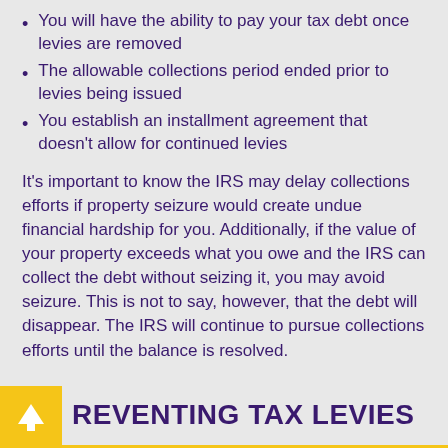You will have the ability to pay your tax debt once levies are removed
The allowable collections period ended prior to levies being issued
You establish an installment agreement that doesn't allow for continued levies
It's important to know the IRS may delay collections efforts if property seizure would create undue financial hardship for you. Additionally, if the value of your property exceeds what you owe and the IRS can collect the debt without seizing it, you may avoid seizure. This is not to say, however, that the debt will disappear. The IRS will continue to pursue collections efforts until the balance is resolved.
PREVENTING TAX LEVIES